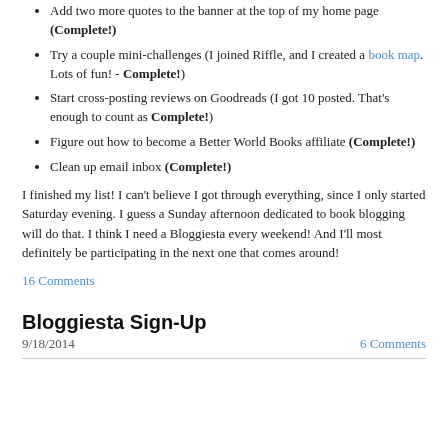Add two more quotes to the banner at the top of my home page (Complete!)
Try a couple mini-challenges (I joined Riffle, and I created a book map. Lots of fun! - Complete!)
Start cross-posting reviews on Goodreads (I got 10 posted. That's enough to count as Complete!)
Figure out how to become a Better World Books affiliate (Complete!)
Clean up email inbox (Complete!)
I finished my list! I can't believe I got through everything, since I only started Saturday evening. I guess a Sunday afternoon dedicated to book blogging will do that. I think I need a Bloggiesta every weekend! And I'll most definitely be participating in the next one that comes around!
16 Comments
Bloggiesta Sign-Up
9/18/2014
6 Comments